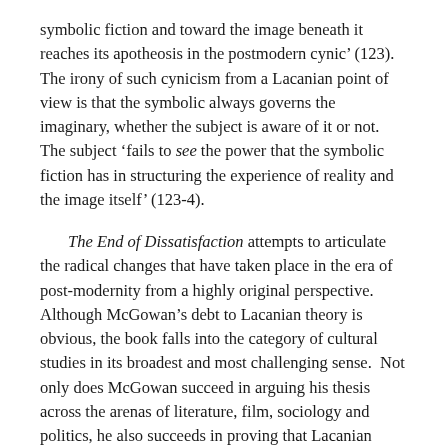symbolic fiction and toward the image beneath it reaches its apotheosis in the postmodern cynic' (123).  The irony of such cynicism from a Lacanian point of view is that the symbolic always governs the imaginary, whether the subject is aware of it or not.  The subject 'fails to see the power that the symbolic fiction has in structuring the experience of reality and the image itself' (123-4).
The End of Dissatisfaction attempts to articulate the radical changes that have taken place in the era of post-modernity from a highly original perspective.  Although McGowan's debt to Lacanian theory is obvious, the book falls into the category of cultural studies in its broadest and most challenging sense.  Not only does McGowan succeed in arguing his thesis across the arenas of literature, film, sociology and politics, he also succeeds in proving that Lacanian psychoanalytic theory continues to be a powerful tool in the analysis of culture, negating arguments that it is a science of the particular.  In a